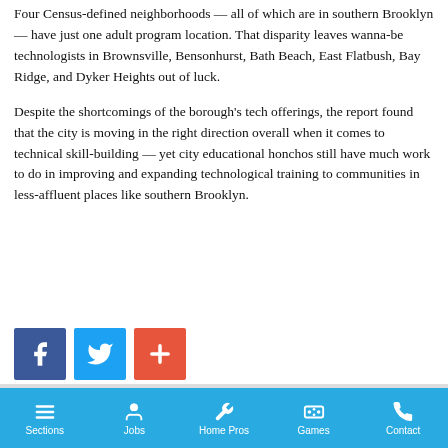Four Census-defined neighborhoods — all of which are in southern Brooklyn — have just one adult program location. That disparity leaves wanna-be technologists in Brownsville, Bensonhurst, Bath Beach, East Flatbush, Bay Ridge, and Dyker Heights out of luck.
Despite the shortcomings of the borough's tech offerings, the report found that the city is moving in the right direction overall when it comes to technical skill-building — yet city educational honchos still have much work to do in improving and expanding technological training to communities in less-affluent places like southern Brooklyn.
[Figure (infographic): Social sharing buttons: Facebook (blue), Twitter (light blue), and a plus/share button (orange-red)]
Sections | Jobs | Home Pros | Games | Contact